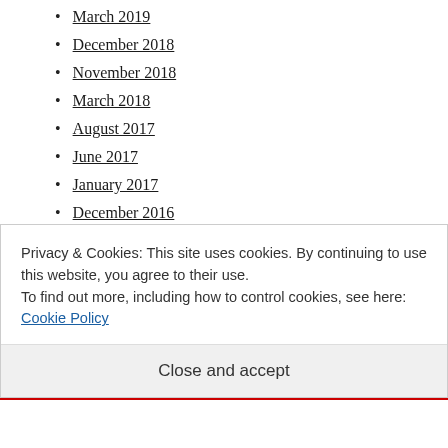March 2019
December 2018
November 2018
March 2018
August 2017
June 2017
January 2017
December 2016
September 2016
March 2016
February 2016
Privacy & Cookies: This site uses cookies. By continuing to use this website, you agree to their use.
To find out more, including how to control cookies, see here: Cookie Policy
Close and accept